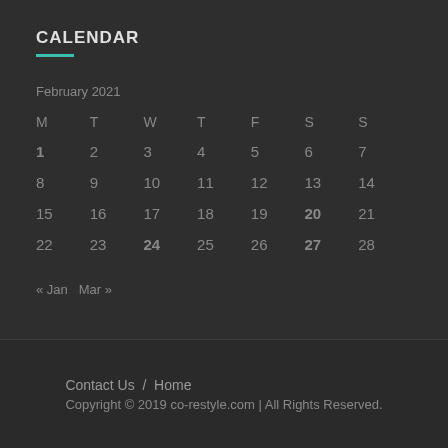CALENDAR
February 2021
| M | T | W | T | F | S | S |
| --- | --- | --- | --- | --- | --- | --- |
| 1 | 2 | 3 | 4 | 5 | 6 | 7 |
| 8 | 9 | 10 | 11 | 12 | 13 | 14 |
| 15 | 16 | 17 | 18 | 19 | 20 | 21 |
| 22 | 23 | 24 | 25 | 26 | 27 | 28 |
« Jan   Mar »
Contact Us  /  Home
Copyright © 2019 co-restyle.com | All Rights Reserved.